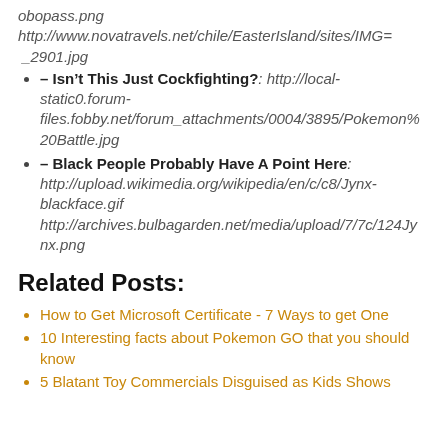obopass.png
http://www.novatravels.net/chile/EasterIsland/sites/IMG=_2901.jpg
– Isn't This Just Cockfighting?: http://localstatic0.forum-files.fobby.net/forum_attachments/0004/3895/Pokemon%20Battle.jpg
– Black People Probably Have A Point Here: http://upload.wikimedia.org/wikipedia/en/c/c8/Jynx-blackface.gif
http://archives.bulbagarden.net/media/upload/7/7c/124Jynx.png
Related Posts:
How to Get Microsoft Certificate - 7 Ways to get One
10 Interesting facts about Pokemon GO that you should know
5 Blatant Toy Commercials Disguised as Kids Shows